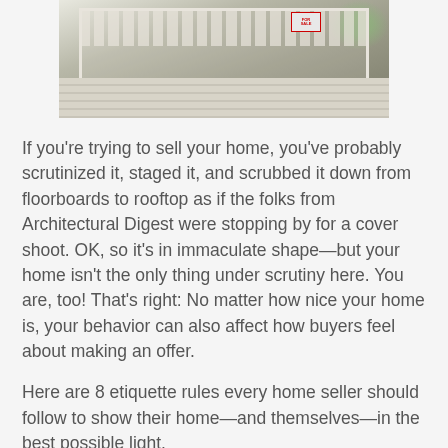[Figure (photo): Photo of a house exterior showing a balcony with white railings and a For Sale sign, with siding visible below and trees in background]
If you're trying to sell your home, you've probably scrutinized it, staged it, and scrubbed it down from floorboards to rooftop as if the folks from Architectural Digest were stopping by for a cover shoot. OK, so it's in immaculate shape—but your home isn't the only thing under scrutiny here. You are, too! That's right: No matter how nice your home is, your behavior can also affect how buyers feel about making an offer.
Here are 8 etiquette rules every home seller should follow to show their home—and themselves—in the best possible light.
Leave